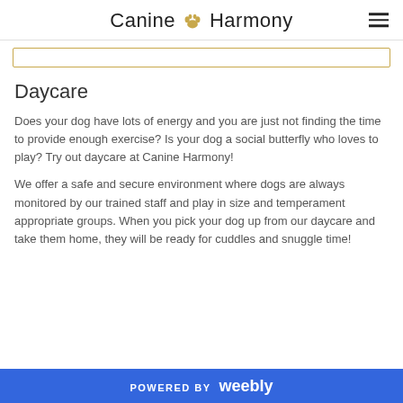Canine 🐾 Harmony
Daycare
Does your dog have lots of energy and you are just not finding the time to provide enough exercise? Is your dog a social butterfly who loves to play? Try out daycare at Canine Harmony!
We offer a safe and secure environment where dogs are always monitored by our trained staff and play in size and temperament appropriate groups. When you pick your dog up from our daycare and take them home, they will be ready for cuddles and snuggle time!
POWERED BY weebly